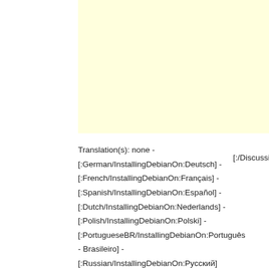[Figure (other): Light yellow/cream colored box occupying the upper portion of the page]
Translation(s): none - [:German/InstallingDebianOn:Deutsch] - [:French/InstallingDebianOn:Français] - [:Spanish/InstallingDebianOn:Español] - [:Dutch/InstallingDebianOn:Nederlands] - [:Polish/InstallingDebianOn:Polski] - [:PortugueseBR/InstallingDebianOn:Português - Brasileiro] - [:Russian/InstallingDebianOn:Русский]
[:/Discussion:Di